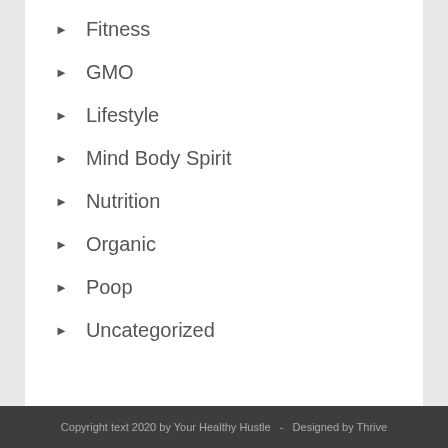Fitness
GMO
Lifestyle
Mind Body Spirit
Nutrition
Organic
Poop
Uncategorized
Copyright text 2020 by Your Healthy Hustle  -  Designed by Thrive